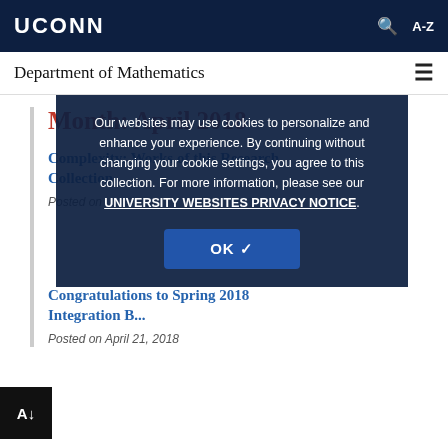UCONN
Department of Mathematics
Month: April 2018
Complexity: Works of this Research Collection
Posted on
Congratulations to Spring 2018 Integration B...
Posted on April 21, 2018
Our websites may use cookies to personalize and enhance your experience. By continuing without changing your cookie settings, you agree to this collection. For more information, please see our UNIVERSITY WEBSITES PRIVACY NOTICE.